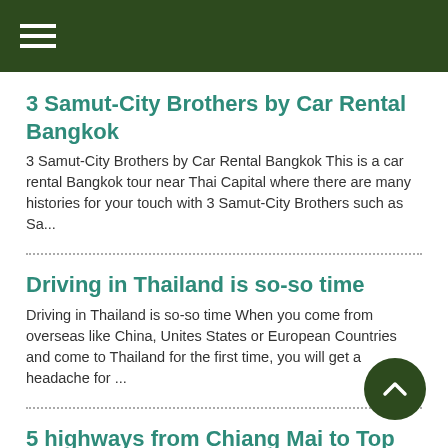Navigation menu
3 Samut-City Brothers by Car Rental Bangkok
3 Samut-City Brothers by Car Rental Bangkok This is a car rental Bangkok tour near Thai Capital where there are many histories for your touch with 3 Samut-City Brothers such as Sa...
Driving in Thailand is so-so time
Driving in Thailand is so-so time When you come from overseas like China, Unites States or European Countries and come to Thailand for the first time, you will get a headache for ...
5 highways from Chiang Mai to Top North Cities
5 highways from Chiang Mai to Top North Cities When you car rental Chiang Mai from ECOCAR rent-a-car at Chiang International Airport, where you will go? And how many hig...